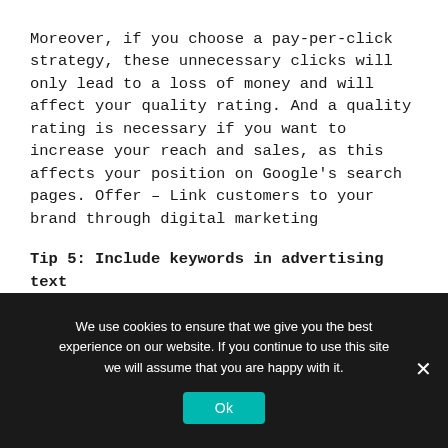Moreover, if you choose a pay-per-click strategy, these unnecessary clicks will only lead to a loss of money and will affect your quality rating. And a quality rating is necessary if you want to increase your reach and sales, as this affects your position on Google's search pages. Offer – Link customers to your brand through digital marketing
Tip 5: Include keywords in advertising text
Another way to increase quality and get a better position on the first Google search page is to include the keywords of the ad group in the text of your ad.
We use cookies to ensure that we give you the best experience on our website. If you continue to use this site we will assume that you are happy with it.